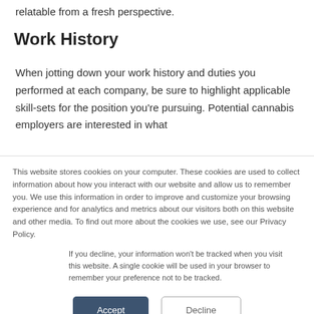relatable from a fresh perspective.
Work History
When jotting down your work history and duties you performed at each company, be sure to highlight applicable skill-sets for the position you're pursuing. Potential cannabis employers are interested in what
This website stores cookies on your computer. These cookies are used to collect information about how you interact with our website and allow us to remember you. We use this information in order to improve and customize your browsing experience and for analytics and metrics about our visitors both on this website and other media. To find out more about the cookies we use, see our Privacy Policy.
If you decline, your information won't be tracked when you visit this website. A single cookie will be used in your browser to remember your preference not to be tracked.